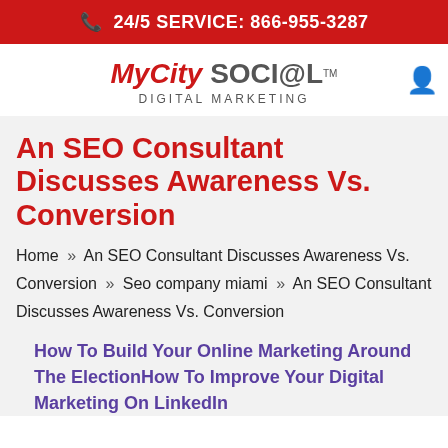📞 24/5 SERVICE: 866-955-3287
[Figure (logo): MyCitySOCI@L Digital Marketing logo with red italic MyCitySOCI@L text and gray DIGITAL MARKETING subtitle]
An SEO Consultant Discusses Awareness Vs. Conversion
Home » An SEO Consultant Discusses Awareness Vs. Conversion » Seo company miami » An SEO Consultant Discusses Awareness Vs. Conversion
How To Build Your Online Marketing Around The ElectionHow To Improve Your Digital Marketing On LinkedIn